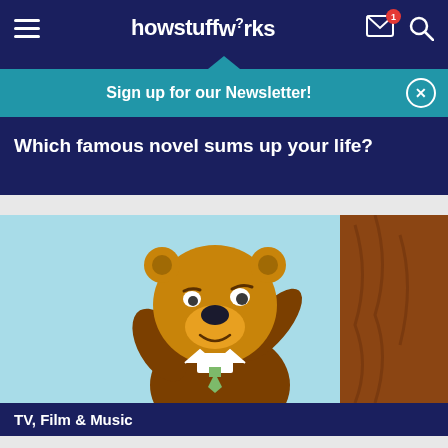howstuffworks
Sign up for our Newsletter!
Which famous novel sums up your life?
[Figure (illustration): Cartoon character - Yogi Bear style bear in a collar and tie, scratching head, peeking around a brown tree trunk, light blue background]
TV, Film & Music